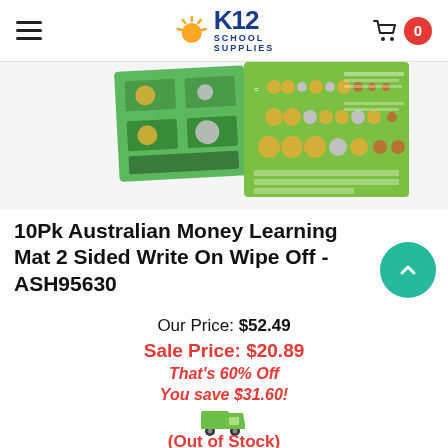K12 School Supplies
[Figure (photo): Product image of 10Pk Australian Money Learning Mat 2 Sided Write On Wipe Off - ASH95630, showing green educational mat with Australian coins]
10Pk Australian Money Learning Mat 2 Sided Write On Wipe Off - ASH95630
Our Price: $52.49
Sale Price: $20.89
That's 60% Off
You save $31.60!
[Figure (illustration): Green delivery truck icon]
(Out of Stock)
Item Code: ASH95630